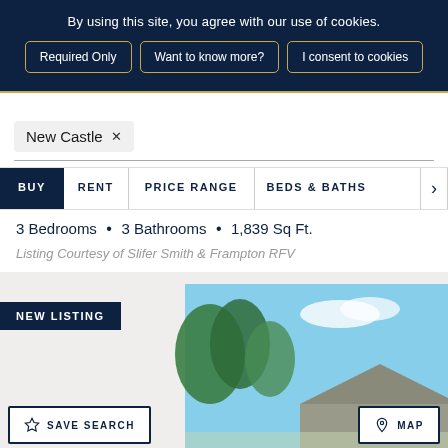By using this site, you agree with our use of cookies.
Required Only | Want to know more? | I consent to cookies
New Castle ×
BUY  RENT  PRICE RANGE  BEDS & BATHS  >
3 Bedrooms • 3 Bathrooms • 1,839 Sq Ft.
Listing Courtesy of Slifer Smith & Frampton RFV
[Figure (photo): Real estate listing photo showing a house with trees and a flagpole under a blue sky, with a NEW LISTING badge overlay]
NEW LISTING
☆ SAVE SEARCH
📍 MAP